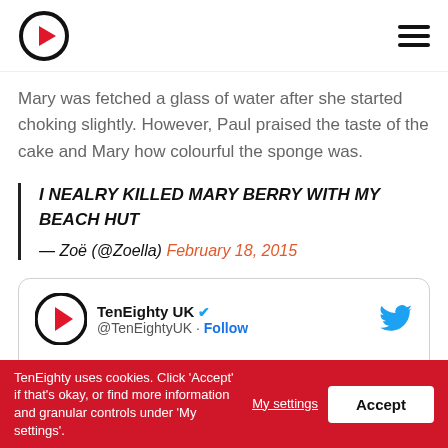TenEighty UK logo and navigation
Mary was fetched a glass of water after she started choking slightly. However, Paul praised the taste of the cake and Mary how colourful the sponge was.
I NEALRY KILLED MARY BERRY WITH MY BEACH HUT — Zoë (@Zoella) February 18, 2015
[Figure (other): Embedded tweet from TenEighty UK (@TenEightyUK) with Follow button and Twitter bird icon. Tweet text begins: This is totes emosh. We are SO]
TenEighty uses cookies. Click 'Accept' if that's okay, or find more information and granular controls under 'My settings'. My settings | Accept